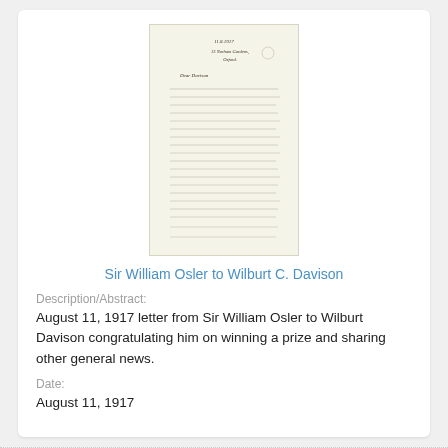[Figure (photo): Handwritten letter image — Sir William Osler to Wilburt C. Davison, August 11, 1917]
Sir William Osler to Wilburt C. Davison
Description/Abstract:
August 11, 1917 letter from Sir William Osler to Wilburt Davison congratulating him on winning a prize and sharing other general news.
Date:
August 11, 1917
[Figure (photo): Second handwritten letter image — partial view]